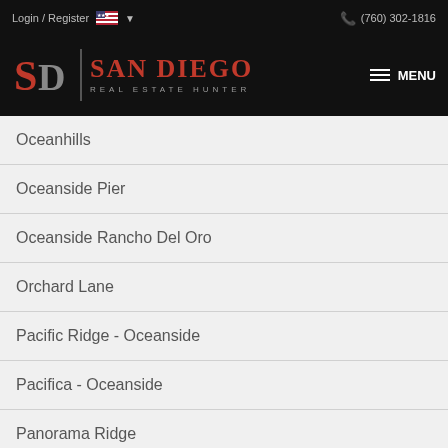Login / Register   (760) 302-1816
[Figure (logo): San Diego Real Estate Hunter logo with SD monogram and red text on black background, with hamburger MENU button]
Oceanhills
Oceanside Pier
Oceanside Rancho Del Oro
Orchard Lane
Pacific Ridge - Oceanside
Pacifica - Oceanside
Panorama Ridge
[Figure (infographic): Social sharing buttons: Facebook (blue), Twitter (light blue), Email (dark gray), Pinterest (red), More/Plus (orange-red)]